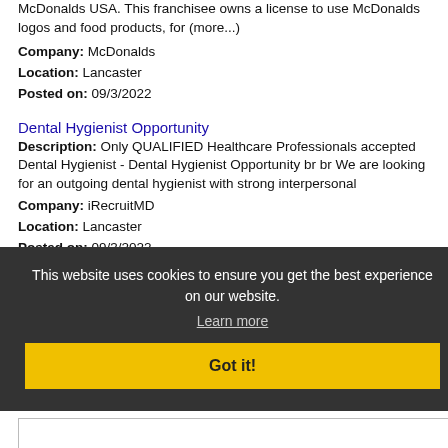McDonalds USA. This franchisee owns a license to use McDonalds logos and food products, for (more...)
Company: McDonalds
Location: Lancaster
Posted on: 09/3/2022
Dental Hygienist Opportunity
Description: Only QUALIFIED Healthcare Professionals accepted Dental Hygienist - Dental Hygienist Opportunity br br We are looking for an outgoing dental hygienist with strong interpersonal
Company: iRecruitMD
Location: Lancaster
Posted on: 09/3/2022
Loading more jobs...
Log In or Create An Account
This website uses cookies to ensure you get the best experience on our website.
Learn more
Got it!
Username:
Password: